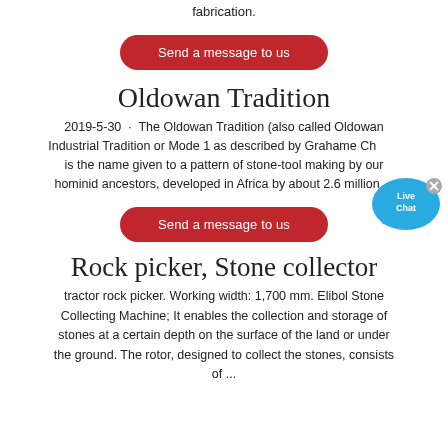fabrication.
Send a message to us
Oldowan Tradition
2019-5-30 · The Oldowan Tradition (also called Oldowan Industrial Tradition or Mode 1 as described by Grahame Ch... is the name given to a pattern of stone-tool making by our hominid ancestors, developed in Africa by about 2.6 million ...
Send a message to us
Rock picker, Stone collector
tractor rock picker. Working width: 1,700 mm. Elibol Stone Collecting Machine; It enables the collection and storage of stones at a certain depth on the surface of the land or under the ground. The rotor, designed to collect the stones, consists of ...